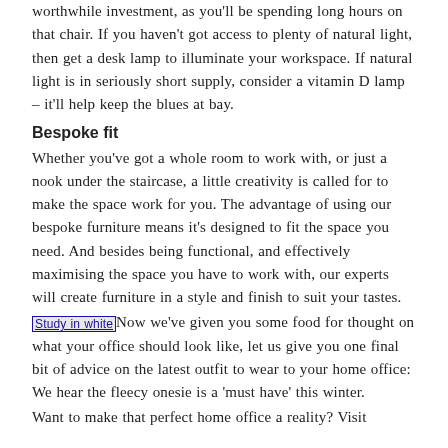worthwhile investment, as you'll be spending long hours on that chair. If you haven't got access to plenty of natural light, then get a desk lamp to illuminate your workspace. If natural light is in seriously short supply, consider a vitamin D lamp – it'll help keep the blues at bay.
Bespoke fit
Whether you've got a whole room to work with, or just a nook under the staircase, a little creativity is called for to make the space work for you. The advantage of using our bespoke furniture means it's designed to fit the space you need. And besides being functional, and effectively maximising the space you have to work with, our experts will create furniture in a style and finish to suit your tastes.
[Study in white] Now we've given you some food for thought on what your office should look like, let us give you one final bit of advice on the latest outfit to wear to your home office: We hear the fleecy onesie is a 'must have' this winter.
Want to make that perfect home office a reality? Visit